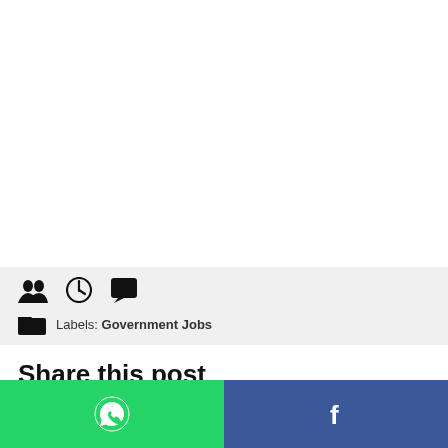[icons: people, clock, comment] Labels: Government Jobs
Share this post
Related Posts
[Figure (other): Bottom share bar with WhatsApp (green) and Facebook (blue) icons]